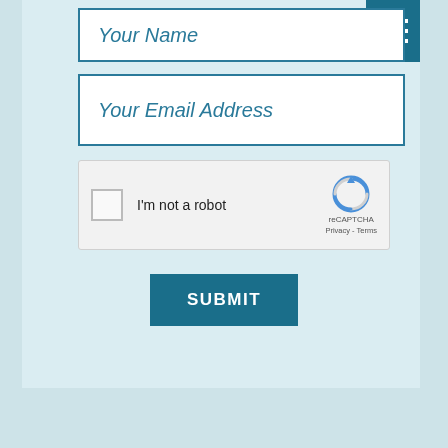[Figure (screenshot): Web form with Your Name field, Your Email Address field, reCAPTCHA checkbox widget, and a SUBMIT button, with a hamburger menu icon in top-right corner. Light blue background.]